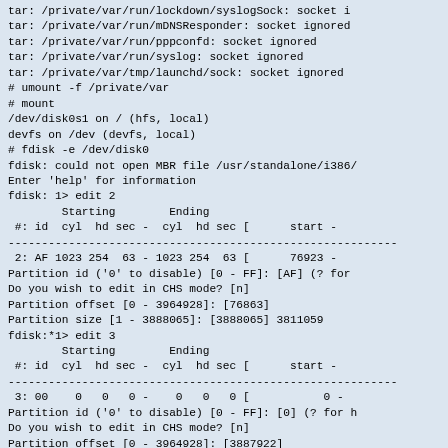tar: /private/var/run/lockdown/syslogSock: socket i
tar: /private/var/run/mDNSResponder: socket ignored
tar: /private/var/run/pppconfd: socket ignored
tar: /private/var/run/syslog: socket ignored
tar: /private/var/tmp/launchd/sock: socket ignored
# umount -f /private/var
# mount
/dev/disk0s1 on / (hfs, local)
devfs on /dev (devfs, local)
# fdisk -e /dev/disk0
fdisk: could not open MBR file /usr/standalone/i386/
Enter 'help' for information
fdisk: 1> edit 2
        Starting        Ending
 #: id  cyl  hd sec -  cyl  hd sec [      start -
----------------------------------------------------------
 2: AF 1023 254  63 - 1023 254  63 [      76923 -
Partition id ('0' to disable) [0 - FF]: [AF] (? for
Do you wish to edit in CHS mode? [n]
Partition offset [0 - 3964928]: [76863]
Partition size [1 - 3888065]: [3888065] 3811059
fdisk:*1> edit 3
        Starting        Ending
 #: id  cyl  hd sec -  cyl  hd sec [      start -
----------------------------------------------------------
 3: 00    0   0   0 -    0   0   0 [           0 -
Partition id ('0' to disable) [0 - FF]: [0] (? for h
Do you wish to edit in CHS mode? [n]
Partition offset [0 - 3964928]: [3887922]
Partition size [1 - 77006]: [77006]
fdisk:*1> print